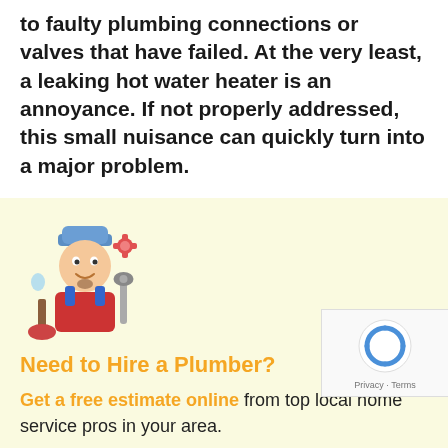to faulty plumbing connections or valves that have failed. At the very least, a leaking hot water heater is an annoyance. If not properly addressed, this small nuisance can quickly turn into a major problem.
[Figure (illustration): Cartoon plumber character holding a plunger and wrench, wearing blue cap and red overalls, with tool symbols around him]
Need to Hire a Plumber?
Get a free estimate online from top local home service pros in your area.
While a small amount of water may seem harmless, it